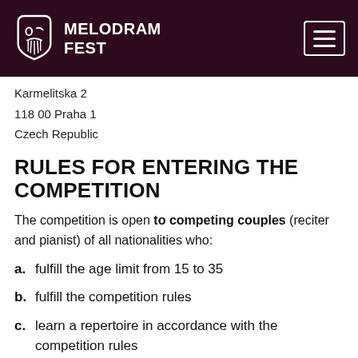MELODRAM FEST
Karmelitska 2
118 00 Praha 1
Czech Republic
RULES FOR ENTERING THE COMPETITION
The competition is open to competing couples (reciter and pianist) of all nationalities who:
a. fulfill the age limit from 15 to 35
b. fulfill the competition rules
c. learn a repertoire in accordance with the competition rules